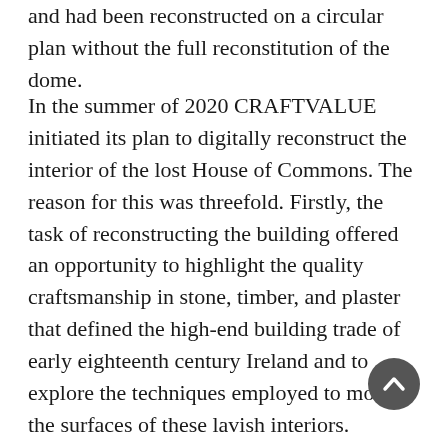and had been reconstructed on a circular plan without the full reconstitution of the dome.
In the summer of 2020 CRAFTVALUE initiated its plan to digitally reconstruct the interior of the lost House of Commons. The reason for this was threefold. Firstly, the task of reconstructing the building offered an opportunity to highlight the quality craftsmanship in stone, timber, and plaster that defined the high-end building trade of early eighteenth century Ireland and to explore the techniques employed to model the surfaces of these lavish interiors. Secondly, the parliament house was a seminal building of the Palladian revival in both Britain and Ireland, and the masterpiece of Sir Edward Lovett Pearce, whose early death in the 1733 cut short one of the most promising architectural careers of the age. Thirdly, the project brought to prominence (as Pearce's draughtsman and